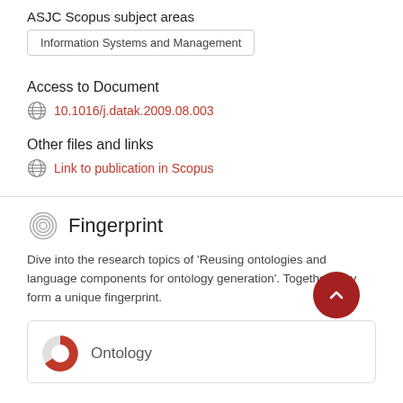ASJC Scopus subject areas
Information Systems and Management
Access to Document
10.1016/j.datak.2009.08.003
Other files and links
Link to publication in Scopus
Fingerprint
Dive into the research topics of 'Reusing ontologies and language components for ontology generation'. Together they form a unique fingerprint.
Ontology